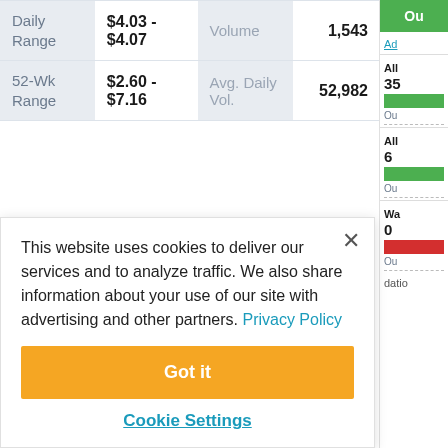|  |  |  |  |
| --- | --- | --- | --- |
| Daily Range | $4.03 - $4.07 | Volume | 1,543 |
| 52-Wk Range | $2.60 - $7.16 | Avg. Daily Vol. | 52,982 |
This website uses cookies to deliver our services and to analyze traffic. We also share information about your use of our site with advertising and other partners. Privacy Policy
Got it
Cookie Settings